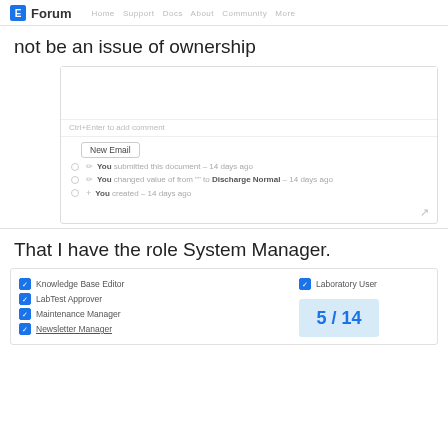Forum
not be an issue of ownership
[Figure (screenshot): Comment box with hint text 'Ctrl+Enter to add comment', a New Email button, and activity log entries: 'You submitted this document - 14 days ago', 'You changed value of from "" to Discharge Normal - 14 days ago', 'You created - 14 days ago', with an expand icon.]
That I have the role System Manager.
[Figure (screenshot): Roles panel showing checkboxes for Knowledge Base Editor, LabTest Approver, Maintenance Manager, Newsletter Manager on the left, and Laboratory User on the right, with a pagination element showing 5 / 14.]